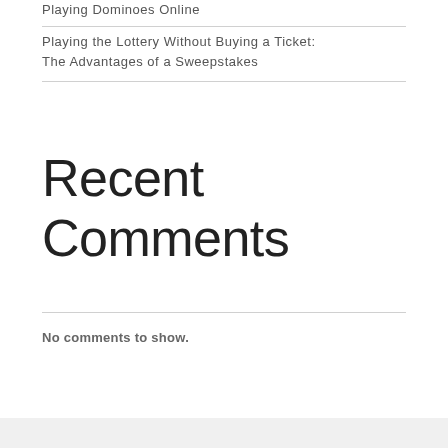Playing Dominoes Online
Playing the Lottery Without Buying a Ticket: The Advantages of a Sweepstakes
Recent Comments
No comments to show.